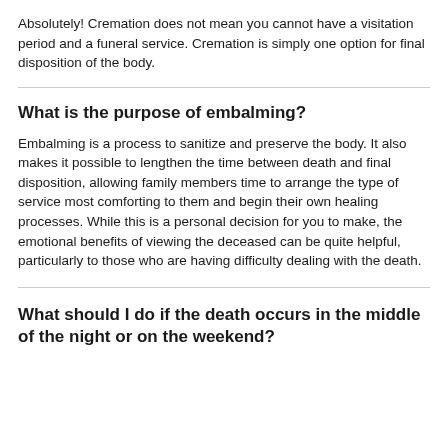Absolutely! Cremation does not mean you cannot have a visitation period and a funeral service. Cremation is simply one option for final disposition of the body.
What is the purpose of embalming?
Embalming is a process to sanitize and preserve the body. It also makes it possible to lengthen the time between death and final disposition, allowing family members time to arrange the type of service most comforting to them and begin their own healing processes. While this is a personal decision for you to make, the emotional benefits of viewing the deceased can be quite helpful, particularly to those who are having difficulty dealing with the death.
What should I do if the death occurs in the middle of the night or on the weekend?